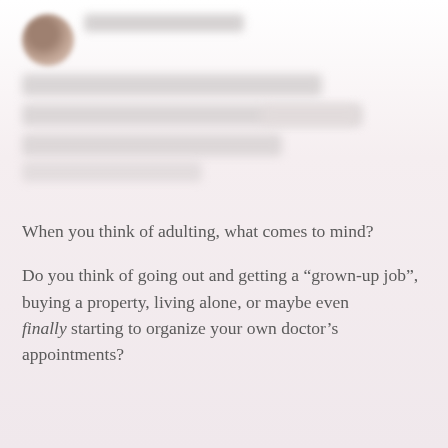[Figure (photo): Blurred/redacted social media post header showing a circular avatar photo of a person and redacted username and post text lines]
When you think of adulting, what comes to mind?
Do you think of going out and getting a “grown-up job”, buying a property, living alone, or maybe even finally starting to organize your own doctor's appointments?